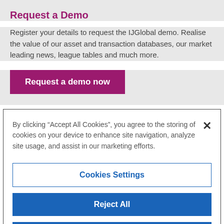Request a Demo
Register your details to request the IJGlobal demo. Realise the value of our asset and transaction databases, our market leading news, league tables and much more.
Request a demo now
By clicking “Accept All Cookies”, you agree to the storing of cookies on your device to enhance site navigation, analyze site usage, and assist in our marketing efforts.
Cookies Settings
Reject All
Accept All Cookies